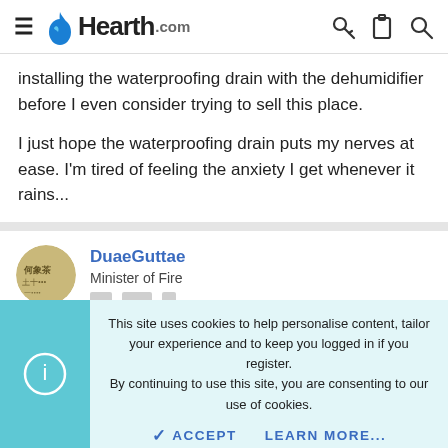Hearth.com
installing the waterproofing drain with the dehumidifier before I even consider trying to sell this place.
I just hope the waterproofing drain puts my nerves at ease. I'm tired of feeling the anxiety I get whenever it rains...
DuaeGuttae
Minister of Fire
This site uses cookies to help personalise content, tailor your experience and to keep you logged in if you register. By continuing to use this site, you are consenting to our use of cookies.
ACCEPT   LEARN MORE...